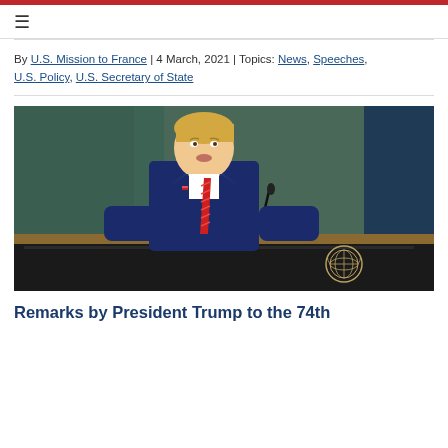By U.S. Mission to France | 4 March, 2021 | Topics: News, Speeches, U.S. Policy, U.S. Secretary of State
[Figure (photo): Person in a dark blue suit with a red tie speaking at a UN General Assembly podium. The UN emblem is visible on the front of the podium.]
Remarks by President Trump to the 74th